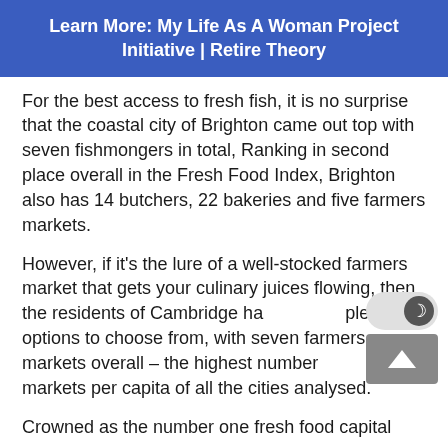Learn More: My Life As A Woman Project Initiative | Retire Theory
For the best access to fresh fish, it is no surprise that the coastal city of Brighton came out top with seven fishmongers in total, Ranking in second place overall in the Fresh Food Index, Brighton also has 14 butchers, 22 bakeries and five farmers markets.
However, if it's the lure of a well-stocked farmers market that gets your culinary juices flowing, then the residents of Cambridge have plenty of options to choose from, with seven farmers markets overall – the highest number of markets per capita of all the cities analysed.
Crowned as the number one fresh food capital